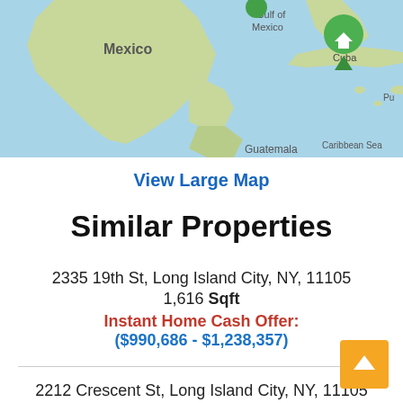[Figure (map): Map showing Mexico, Gulf of Mexico, Cuba, Guatemala, Caribbean Sea region with a green home marker pin]
View Large Map
Similar Properties
2335 19th St, Long Island City, NY, 11105
1,616 Sqft
Instant Home Cash Offer:
($990,686 - $1,238,357)
2212 Crescent St, Long Island City, NY, 11105
2,000 Sqft
Instant Home Cash Offer:
($1,114,034 - $1,392,542)